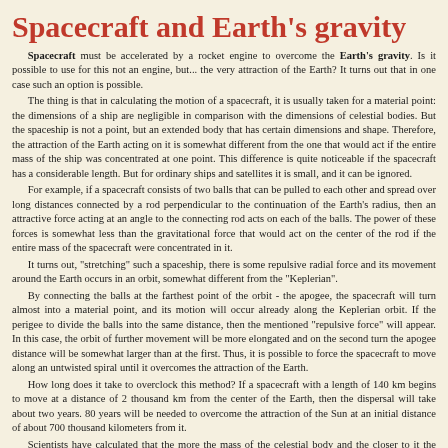Spacecraft and Earth's gravity
Spacecraft must be accelerated by a rocket engine to overcome the Earth's gravity. Is it possible to use for this not an engine, but... the very attraction of the Earth? It turns out that in one case such an option is possible.

The thing is that in calculating the motion of a spacecraft, it is usually taken for a material point: the dimensions of a ship are negligible in comparison with the dimensions of celestial bodies. But the spaceship is not a point, but an extended body that has certain dimensions and shape. Therefore, the attraction of the Earth acting on it is somewhat different from the one that would act if the entire mass of the ship was concentrated at one point. This difference is quite noticeable if the spacecraft has a considerable length. But for ordinary ships and satellites it is small, and it can be ignored.

For example, if a spacecraft consists of two balls that can be pulled to each other and spread over long distances connected by a rod perpendicular to the continuation of the Earth's radius, then an attractive force acting at an angle to the connecting rod acts on each of the balls. The power of these forces is somewhat less than the gravitational force that would act on the center of the rod if the entire mass of the spacecraft were concentrated in it.

It turns out, "stretching" such a spaceship, there is some repulsive radial force and its movement around the Earth occurs in an orbit, somewhat different from the "Keplerian".

By connecting the balls at the farthest point of the orbit - the apogee, the spacecraft will turn almost into a material point, and its motion will occur already along the Keplerian orbit. If the perigee to divide the balls into the same distance, then the mentioned "repulsive force" will appear. In this case, the orbit of further movement will be more elongated and on the second turn the apogee distance will be somewhat larger than at the first. Thus, it is possible to force the spacecraft to move along an untwisted spiral until it overcomes the attraction of the Earth.

How long does it take to overclock this method? If a spacecraft with a length of 140 km begins to move at a distance of 2 thousand km from the center of the Earth, then the dispersal will take about two years. 80 years will be needed to overcome the attraction of the Sun at an initial distance of about 700 thousand kilometers from it.

Scientists have calculated that the more the mass of the celestial body and the closer to it the spacecraft, the faster it is possible to overcome the attraction with this method. For example, being twenty thousand kilometers away from the center of the famous superdense star - the white dwarf Sirius B, the spacecraft could have gone on an untwisted spiral into space in just an hour and a half.

Is it possible to create such a pulsating spacecraft? Probably, this is the business of the technology of the future. In any case, there is a theoretical possibility.